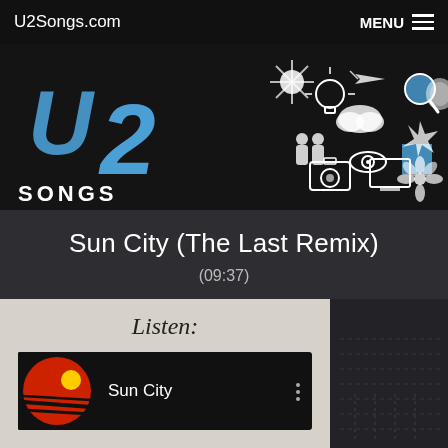U2Songs.com  MENU
[Figure (illustration): U2 Songs website banner with white illustrated icons (people, eye, flower, camera, lightbulb, cloud, etc.) on dark background with blue U2 logo on the left]
Sun City (The Last Remix)
(09:37)
Listen:
[Figure (screenshot): Music player widget showing Sun City track with red album art thumbnail and three-dot menu icon]